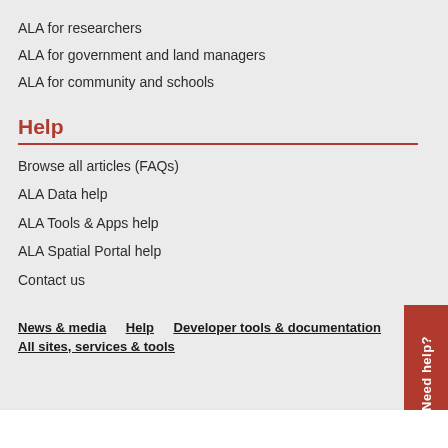ALA for researchers
ALA for government and land managers
ALA for community and schools
Help
Browse all articles (FAQs)
ALA Data help
ALA Tools & Apps help
ALA Spatial Portal help
Contact us
News & media    Help    Developer tools & documentation
All sites, services & tools